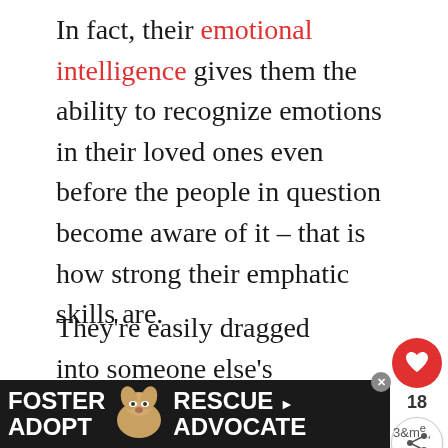In fact, their emotional intelligence gives them the ability to recognize emotions in their loved ones even before the people in question become aware of it – that is how strong their emphatic skills are.
They're easily dragged into someone else's problems and always get emotionally invested in people's worrie...
Even though this is an amazing ... for those surrounding them, Scorpio's e...
[Figure (infographic): Side panel UI with a red heart button, count of 18, and a share icon button]
[Figure (infographic): WHAT'S NEXT panel showing Scorpio And Scorpio... article thumbnail with a dog photo]
[Figure (infographic): Ad banner: FOSTER RESCUE dog image ADOPT ADVOCATE text on dark background]